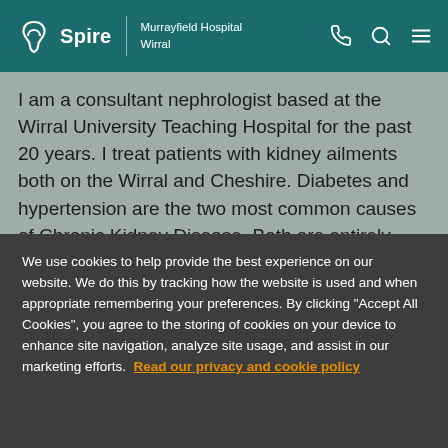Spire | Murrayfield Hospital Wirral
I am a consultant nephrologist based at the Wirral University Teaching Hospital for the past 20 years. I treat patients with kidney ailments both on the Wirral and Cheshire. Diabetes and hypertension are the two most common causes of Chronic Kidney Disease. Both are entirely preventable, if not at least amenable to slowing down progressive decline to end stage kidney disease. I have a
We use cookies to help provide the best experience on our website. We do this by tracking how the website is used and when appropriate remembering your preferences. By clicking "Accept All Cookies", you agree to the storing of cookies on your device to enhance site navigation, analyze site usage, and assist in our marketing efforts. Read our privacy and cookie policy